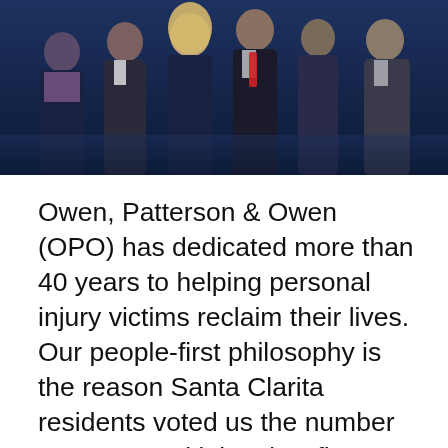[Figure (photo): Group photo of law firm attorneys in professional attire (suits) against a dark navy blue background. Multiple men and women dressed formally.]
Owen, Patterson & Owen (OPO) has dedicated more than 40 years to helping personal injury victims reclaim their lives. Our people-first philosophy is the reason Santa Clarita residents voted us the number one personal injury law firm. Unlike some other firms, we don't base our efforts on your case size. Instead, we fight as aggressively for our smaller injury accident claims as we do our high-profile accident cases and prioritize your needs to secure the highest compensation amount possible for you.